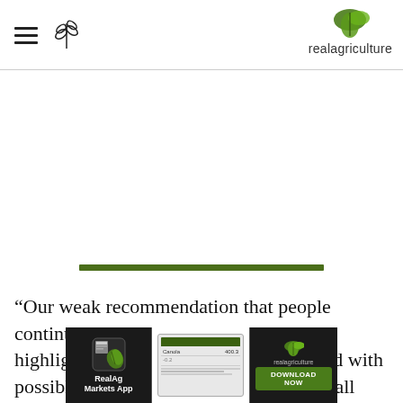realagriculture
[Figure (illustration): Green horizontal rule/divider bar]
“Our weak recommendation that people continue their current meat consumption highlights both the uncertainty associated with possible harmful effects and the very small magnitude of effect,
[Figure (screenshot): RealAg Markets App advertisement banner with leaf logo, phone screenshot, and Download Now button]